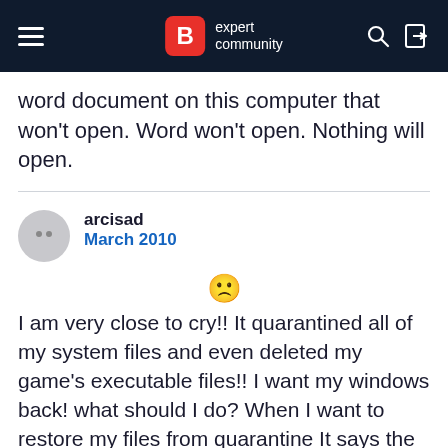B expert community
word document on this computer that won't open. Word won't open. Nothing will open.
arcisad
March 2010
[Figure (other): Sad/crying emoji face]
I am very close to cry!! It quarantined all of my system files and even deleted my game's executable files!! I want my windows back! what should I do? When I want to restore my files from quarantine It says the path does not exists! I am stuck here I dont want to reinstall my windows and whole of my applications again. Welldone bitdefender. You not only kill viruses but also elliminate the entire system when you decide.